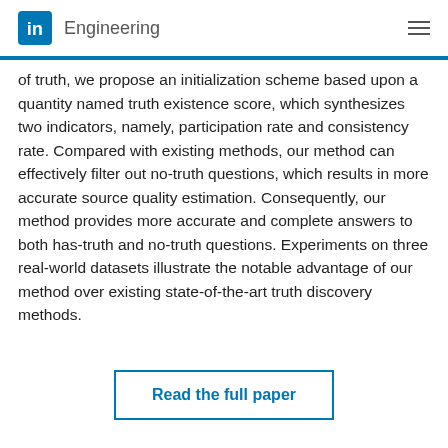in  Engineering
of truth, we propose an initialization scheme based upon a quantity named truth existence score, which synthesizes two indicators, namely, participation rate and consistency rate. Compared with existing methods, our method can effectively filter out no-truth questions, which results in more accurate source quality estimation. Consequently, our method provides more accurate and complete answers to both has-truth and no-truth questions. Experiments on three real-world datasets illustrate the notable advantage of our method over existing state-of-the-art truth discovery methods.
Read the full paper